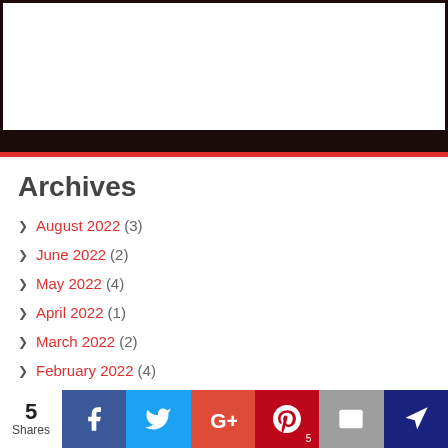Archives
August 2022 (3)
June 2022 (2)
May 2022 (4)
April 2022 (1)
March 2022 (2)
February 2022 (4)
January 2022 (3)
December 2021 (13)
5 Shares — Facebook, Twitter, Google+, Pinterest (5), Email, Crown